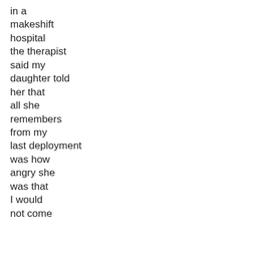in a
makeshift
hospital
the therapist
said my
daughter told
her that
all she
remembers
from my
last deployment
was how
angry she
was that
I would
not come